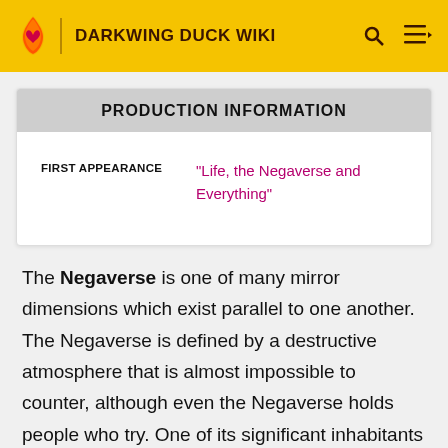DARKWING DUCK WIKI
| FIRST APPEARANCE |
| --- |
| "Life, the Negaverse and Everything" |
The Negaverse is one of many mirror dimensions which exist parallel to one another. The Negaverse is defined by a destructive atmosphere that is almost impossible to counter, although even the Negaverse holds people who try. One of its significant inhabitants is Negaduck, who has mastered dimension travel and uses it to spread his brand of misery beyond the borders of the Negaverse. He